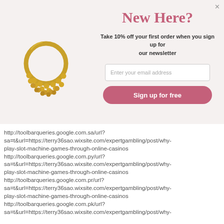[Figure (photo): Gold decorative ring with beaded crescent design on light background]
New Here?
Take 10% off your first order when you sign up for our newsletter
Enter your email address
Sign up for free
http://toolbarqueries.google.com.sa/url?
sa=t&url=https://terry36sao.wixsite.com/expertgambling/post/why-play-slot-machine-games-through-online-casinos
http://toolbarqueries.google.com.py/url?
sa=t&url=https://terry36sao.wixsite.com/expertgambling/post/why-play-slot-machine-games-through-online-casinos
http://toolbarqueries.google.com.pr/url?
sa=t&url=https://terry36sao.wixsite.com/expertgambling/post/why-play-slot-machine-games-through-online-casinos
http://toolbarqueries.google.com.pk/url?
sa=t&url=https://terry36sao.wixsite.com/expertgambling/post/why-